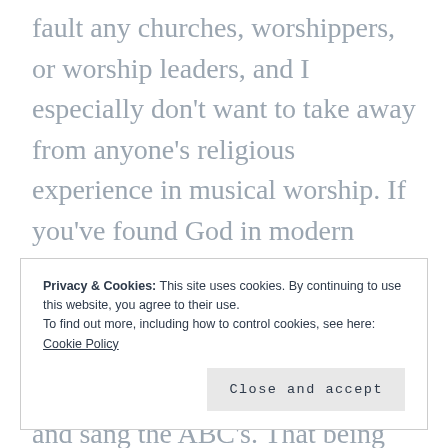fault any churches, worshippers, or worship leaders, and I especially don't want to take away from anyone's religious experience in musical worship. If you've found God in modern worship songs, then Praise God for that. I wouldn't dare limit God's ability to function and bless even if we gathered every week and sang the ABC's. That being said, I do think there is
Privacy & Cookies: This site uses cookies. By continuing to use this website, you agree to their use.
To find out more, including how to control cookies, see here:
Cookie Policy
Close and accept